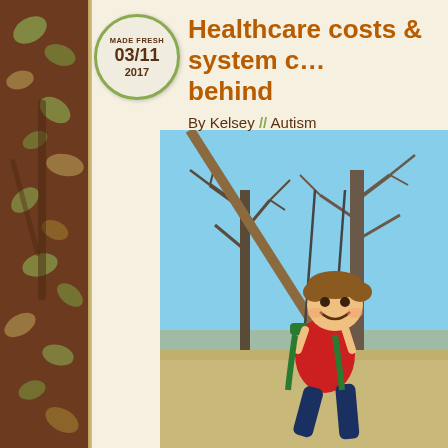[Figure (illustration): Left decorative sidebar with brown background and leaf/nature motif pattern in green and tan tones]
[Figure (illustration): Circular badge stamp reading 'MADE FRESH 03/11 2017' with olive green border on cream background]
Healthcare costs & system challenges left behind
By Kelsey // Autism
[Figure (photo): Photo of a smiling young boy with brown hair sitting on a green swing, wearing a red hoodie and navy pants. Background shows bare winter trees and blue sky in a rural setting.]